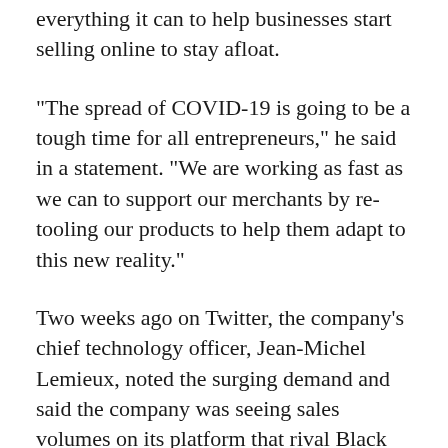everything it can to help businesses start selling online to stay afloat.
"The spread of COVID-19 is going to be a tough time for all entrepreneurs," he said in a statement. "We are working as fast as we can to support our merchants by re-tooling our products to help them adapt to this new reality."
Two weeks ago on Twitter, the company's chief technology officer, Jean-Michel Lemieux, noted the surging demand and said the company was seeing sales volumes on its platform that rival Black Friday.